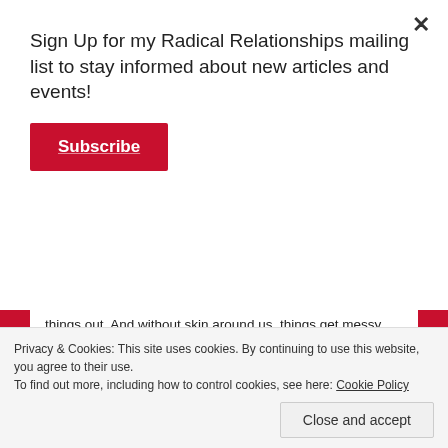Sign Up for my Radical Relationships mailing list to stay informed about new articles and events!
Subscribe
things out. And without skin around us, things get messy.
Similarly, without boundaries, life gets messy.
In polyamory we are constantly being challenged to redefine our boundaries, to explore some of the difficult stuff in that resilient edge of resistance- sometimes we reach our limits. We also traverse an emotional field where we invite more vulnerability into our lives, because we are allowing more
Privacy & Cookies: This site uses cookies. By continuing to use this website, you agree to their use.
To find out more, including how to control cookies, see here: Cookie Policy
Close and accept